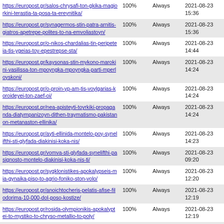| https://europost.gr/salos-chrysafi-ton-gkika-magiorkini-terastia-ta-posa-ta-ereynitika/ | 100% | Always | 2021-08-23 15:36 |
| https://europost.gr/synagermos-stin-patra-arnitis-giatros-apetrepe-polites-to-na-emvoliastoyn/ | 100% | Always | 2021-08-23 15:36 |
| https://europost.gr/o-nikos-chardalias-tin-peripeteia-tis-ygeias-toy-epestrepse-sta/ | 100% | Always | 2021-08-23 14:44 |
| https://europost.gr/kaysonas-stin-mykono-marokini-vasilissa-ton-mpoyngka-mpoyngka-parti-mperloyskoni/ | 100% | Always | 2021-08-23 14:24 |
| https://europost.gr/o-proin-yp-am-tis-voylgarias-koroideyei-ton-zaef-oi/ | 100% | Always | 2021-08-23 14:24 |
| https://europost.gr/nea-apisteyti-toyrkiki-propaganda-diatympanizoyn-dithen-traymatismo-pakistanon-metanaston-ellinika/ | 100% | Always | 2021-08-23 14:24 |
| https://europost.gr/ayti-ellinida-montelo-poy-synelifthi-sti-glyfada-diakinisi-koka-nis/ | 100% | Always | 2021-08-23 14:23 |
| https://europost.gr/vomva-sti-glyfada-synelifthi-pasignosto-montelo-diakinisi-koka-nis-ti/ | 100% | Always | 2021-08-23 09:20 |
| https://europost.gr/sygklonistikes-apokalypseis-mia-gynaika-piso-to-agrio-foniko-ston-volo/ | 100% | Always | 2021-08-23 12:20 |
| https://europost.gr/anoichtocheris-pelatis-afise-filodorima-10-000-dol-poso-kostize/ | 100% | Always | 2021-08-23 12:19 |
| https://europost.gr/rosida-olympionikis-apokalyptei-to-mystiko-to-chryso-metallio-to-poly/ | 100% | Always | 2021-08-23 12:19 |
| https://europost.gr/adianoito-monastiri-stin-eordaia-apagoreyei-tin-eisodo-stoys-pistoys-maska/ | 100% | Always | 2021-08-23 12:18 |